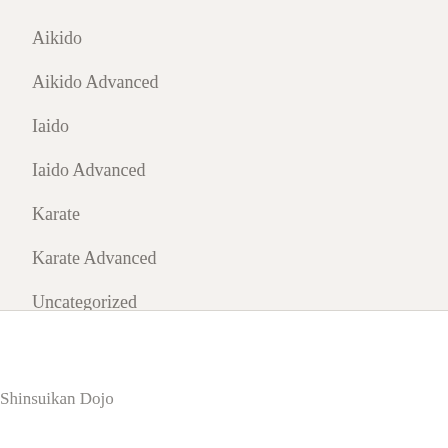Aikido
Aikido Advanced
Iaido
Iaido Advanced
Karate
Karate Advanced
Uncategorized
Shinsuikan Dojo